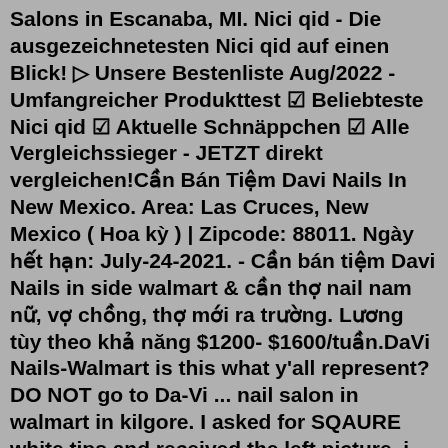Salons in Escanaba, MI. Nici qid - Die ausgezeichnetesten Nici qid auf einen Blick! ▷ Unsere Bestenliste Aug/2022 - Umfangreicher Produkttest ☑ Beliebteste Nici qid ☑ Aktuelle Schnäppchen ☑ Alle Vergleichssieger - JETZT direkt vergleichen!Cần Bán Tiệm Davi Nails In New Mexico. Area: Las Cruces, New Mexico ( Hoa kỳ ) | Zipcode: 88011. Ngày hết hạn: July-24-2021. - Cần bán tiệm Davi Nails in side walmart & cần thợ nail nam nữ, vợ chồng, thợ mới ra trường. Lương tùy theo khả năng $1200- $1600/tuần.DaVi Nails-Walmart is this what y'all represent? DO NOT go to Da-Vi ... nail salon in walmart in kilgore. I asked for SQAURE white tips and received the left picture. i told him i was unhappy he offered to fix them, but i knew there wasn't any fixing what's wrong without taking the entire acrylic off, so i asked if he could just remove them and he said he would STILL charge me regardless ... Gta vice şehir bahreyn devrimi indir diplo. 10000 PAS par Jour Combi En De km Fait La Muraille de Chine. Gta vice şehir bahreyn devrimi indir diplo. 10000 PAS par Jour